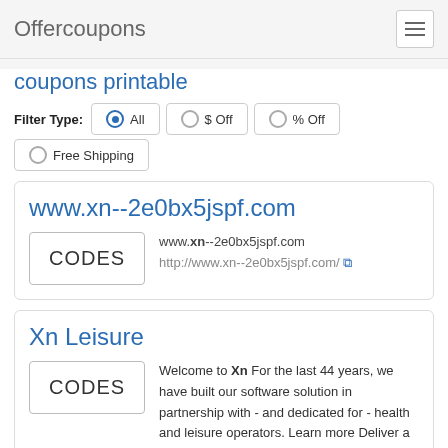Offercoupons
coupons printable
Filter Type: All $ Off % Off Free Shipping
www.xn--2e0bx5jspf.com
CODES www.xn--2e0bx5jspf.com http://www.xn--2e0bx5jspf.com/
Xn Leisure
CODES Welcome to Xn For the last 44 years, we have built our software solution in partnership with - and dedicated for - health and leisure operators. Learn more Deliver a seamless